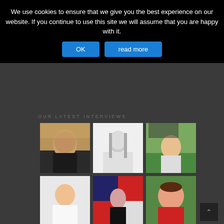We use cookies to ensure that we give you the best experience on our website. If you continue to use this site we will assume that you are happy with it.
OK
read more
OUR LATEST INTERVIEWS
[Figure (photo): Grid of 9 portrait photos of interview subjects on a dark background, arranged in 3 columns and 3 rows. Top row: older man in black shirt, black-and-white portrait of person with long hair, man with camera outdoors. Middle row: young man smiling in white shirt, woman in dark outfit against colorful background, smiling woman in red shirt. Bottom row: partial colorful graphic, man with glasses, partial colorful illustration.]